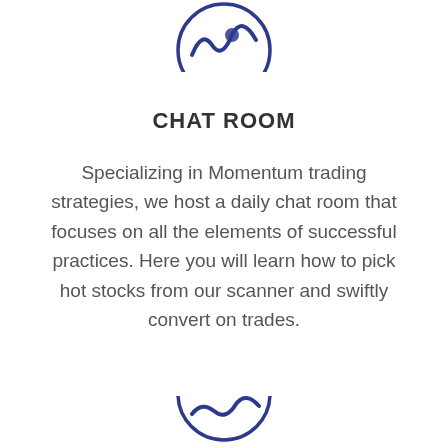[Figure (illustration): Partial circle icon with blue outline and blue graphic inside, cropped at top of page]
CHAT ROOM
Specializing in Momentum trading strategies, we host a daily chat room that focuses on all the elements of successful practices. Here you will learn how to pick hot stocks from our scanner and swiftly convert on trades.
[Figure (illustration): Partial circle icon with blue outline, cropped at bottom of page]